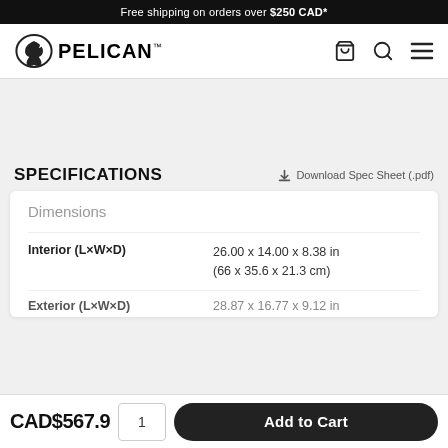Free shipping on orders over $250 CAD*
[Figure (logo): Pelican brand logo with pelican bird icon and PELICAN wordmark]
SPECIFICATIONS
Download Spec Sheet (.pdf)
Dimensions
|  |  |
| --- | --- |
| Interior (L×W×D) | 26.00 x 14.00 x 8.38 in
(66 x 35.6 x 21.3 cm) |
| Exterior (L×W×D) | 28.87 x 16.77 x 9.12 in |
CAD$567.9
1
Add to Cart